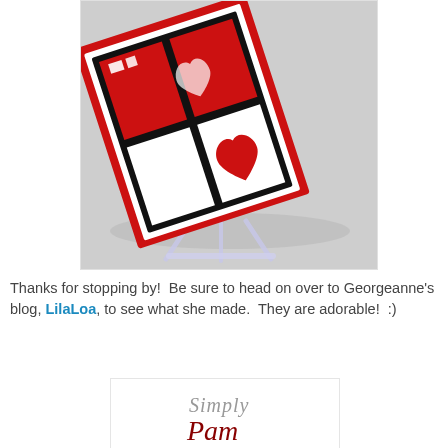[Figure (photo): A handmade greeting card in red, black, and white with heart designs displayed on a clear plastic easel, photographed at an angle.]
Thanks for stopping by!  Be sure to head on over to Georgeanne's blog, LilaLoa, to see what she made.  They are adorable!  :)
[Figure (logo): Simply Pam signature logo in italic text, 'Simply' in gray and 'Pam' in dark red.]